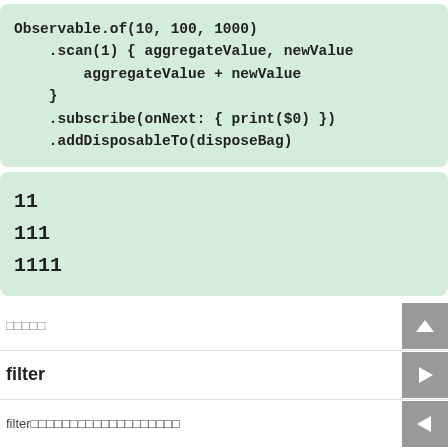Observable.of(10, 100, 1000)
    .scan(1) { aggregateValue, newValue
        aggregateValue + newValue
    }
    .subscribe(onNext: { print($0) })
    .addDisposableTo(disposeBag)
11
111
1111
□□□□□
filter
filter□□□□□□□□□□□□□□□□□□□